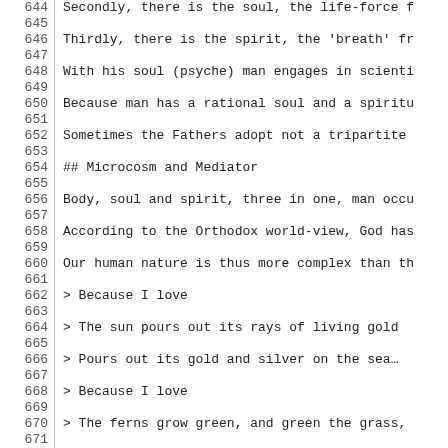644  Secondly, there is the soul, the life-force f
645
646  Thirdly, there is the spirit, the 'breath' fr
647
648  With his soul (psyche) man engages in scienti
649
650  Because man has a rational soul and a spiritu
651
652  Sometimes the Fathers adopt not a tripartite
653
654  ## Microcosm and Mediator
655
656  Body, soul and spirit, three in one, man occu
657
658  According to the Orthodox world-view, God has
659
660  Our human nature is thus more complex than th
661
662  > Because I love
663
664  > The sun pours out its rays of living gold
665
666  > Pours out its gold and silver on the sea…
667
668  > Because I love
669
670  > The ferns grow green, and green the grass,
671
672  > The transparent sunlit trees...
673